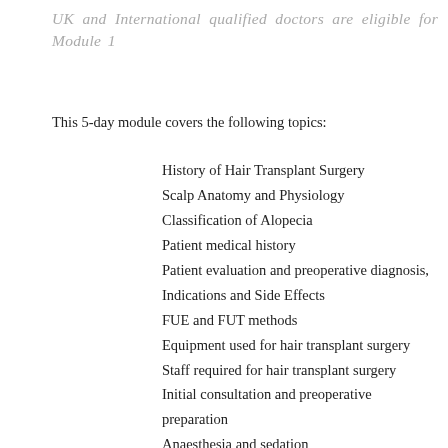UK and International qualified doctors are eligible for Module 1
This 5-day module covers the following topics:
History of Hair Transplant Surgery
Scalp Anatomy and Physiology
Classification of Alopecia
Patient medical history
Patient evaluation and preoperative diagnosis,
Indications and Side Effects
FUE and FUT methods
Equipment used for hair transplant surgery
Staff required for hair transplant surgery
Initial consultation and preoperative preparation
Anaesthesia and sedation
Hair Transplant stages
Post-transplant recovery
Follow up
Outcomes
Complicated case studies